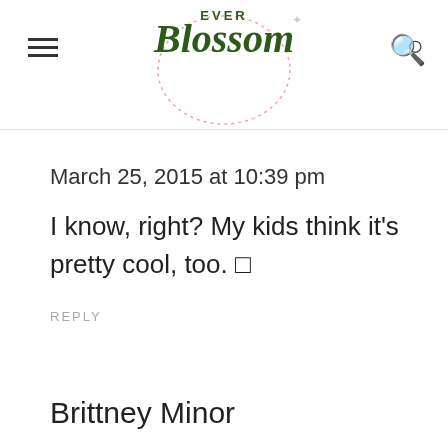Ever Blossom
March 25, 2015 at 10:39 pm
I know, right? My kids think it's pretty cool, too. 🙂
REPLY
Brittney Minor